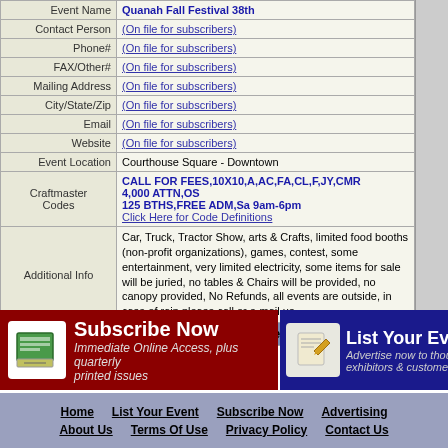| Field | Value |
| --- | --- |
| Event Name | Quanah Fall Festival 38th |
| Contact Person | (On file for subscribers) |
| Phone# | (On file for subscribers) |
| FAX/Other# | (On file for subscribers) |
| Mailing Address | (On file for subscribers) |
| City/State/Zip | (On file for subscribers) |
| Email | (On file for subscribers) |
| Website | (On file for subscribers) |
| Event Location | Courthouse Square - Downtown |
| Craftmaster Codes | CALL FOR FEES,10X10,A,AC,FA,CL,F,JY,CMR 4,000 ATTN,OS 125 BTHS,FREE ADM,Sa 9am-6pm Click Here for Code Definitions |
| Additional Info | Car, Truck, Tractor Show, arts & Crafts, limited food booths (non-profit organizations), games, contest, some entertainment, very limited electricity, some items for sale will be juried, no tables & Chairs will be provided, no canopy provided, No Refunds, all events are outside, in case of rain please call or e-mail us, |
| footer | © 2021 Craftmaster Enterprises, All Rights Reserved |
Subscribe Now - Immediate Online Access, plus quarterly printed issues
List Your Event - Advertise now to thousands of exhibitors & customers
Home | List Your Event | Subscribe Now | Advertising | About Us | Terms Of Use | Privacy Policy | Contact Us